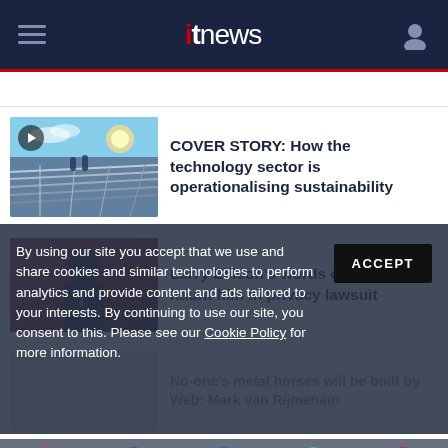itnews
[Figure (screenshot): Thumbnail image of solar panels with people and blue sky, with a video play button overlay]
COVER STORY: How the technology sector is operationalising sustainability
[Figure (screenshot): Thumbnail image of Larry Ellison on stage]
Larry Ellison's words come back to haunt him in privacy lawsuit
By using our site you accept that we use and share cookies and similar technologies to perform analytics and provide content and ads tailored to your interests. By continuing to use our site, you consent to this. Please see our Cookie Policy for more information.